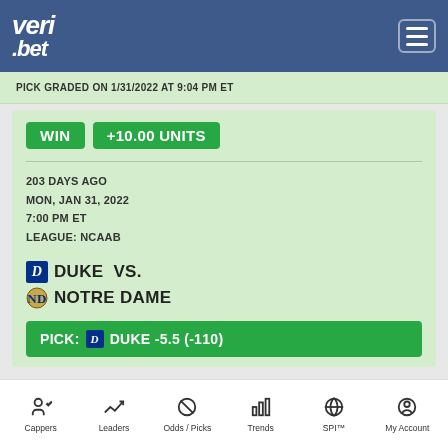veri.bet
PICK GRADED ON 1/31/2022 AT 9:04 PM ET
WIN +10.00 UNITS
203 DAYS AGO
MON, JAN 31, 2022
7:00 PM ET
LEAGUE: NCAAB
DUKE VS.
NOTRE DAME
PICK: DUKE -5.5 (-110)
Cappers  Leaders  Odds / Picks  Trends  SPI™  My Account